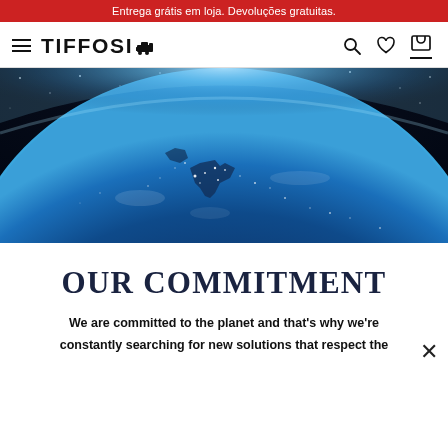Entrega grátis em loja. Devoluções gratuitas.
[Figure (logo): Tiffosi brand logo with hamburger menu icon, search, heart and cart icons in navigation bar]
[Figure (photo): Aerial view of Earth from space at night showing Europe with city lights, blue glow atmosphere]
OUR COMMITMENT
We are committed to the planet and that's why we're constantly searching for new solutions that respect the